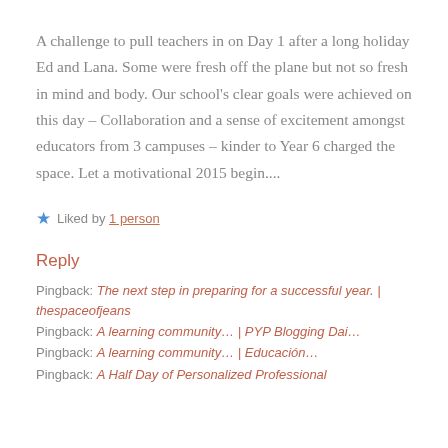A challenge to pull teachers in on Day 1 after a long holiday Ed and Lana. Some were fresh off the plane but not so fresh in mind and body. Our school's clear goals were achieved on this day – Collaboration and a sense of excitement amongst educators from 3 campuses – kinder to Year 6 charged the space. Let a motivational 2015 begin....
★ Liked by 1 person
Reply
Pingback: The next step in preparing for a successful year. | thespaceofjeans
Pingback: A learning community… | PYP Blogging Dai…
Pingback: A learning community… | Educación…
Pingback: A Half Day of Personalized Professional